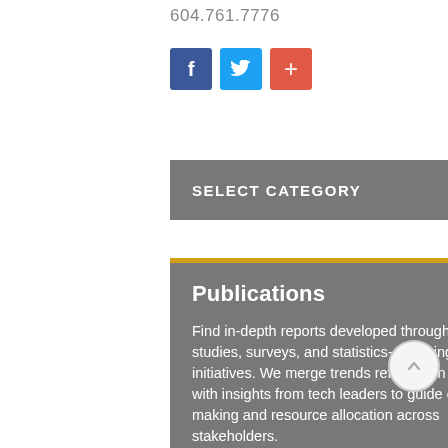604.761.7776
[Figure (infographic): Three social sharing buttons: Facebook (blue), Twitter (light blue), and a red plus/share button]
SELECT CATEGORY
Publications
Find in-depth reports developed through impact studies, surveys, and statistics-gathering initiatives. We merge trends reflected in the data with insights from tech leaders to guide decision-making and resource allocation across stakeholders.